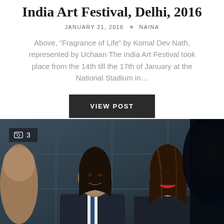India Art Festival, Delhi, 2016
JANUARY 21, 2016 · NAINA
Above, “Fragrance of Life” by Komal Dev Nath, represented by Uchaan The India Art Festival took place from the 14th till the 17th of January at the National Stadium in…
VIEW POST
[Figure (photo): Photo of people at the India Art Festival, Delhi 2016. Shows a man with long dark hair in a suit and tie, a woman with long brown hair smiling, and a partial view of another person. Image counter badge showing '3' is overlaid in top left. Dark blurred figure on right side.]